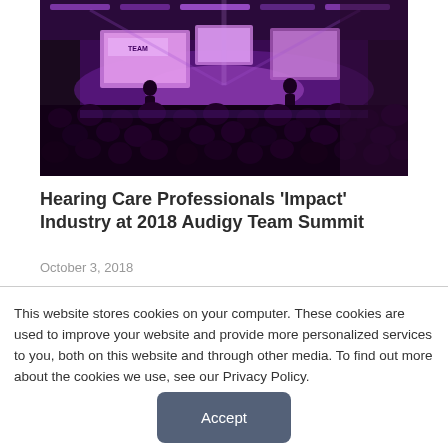[Figure (photo): Conference hall with large audience facing a stage with purple/blue lighting and large projection screens showing speakers at what appears to be the 2018 Audigy Team Summit event.]
Hearing Care Professionals ‘Impact’ Industry at 2018 Audigy Team Summit
October 3, 2018
This website stores cookies on your computer. These cookies are used to improve your website and provide more personalized services to you, both on this website and through other media. To find out more about the cookies we use, see our Privacy Policy.
Accept